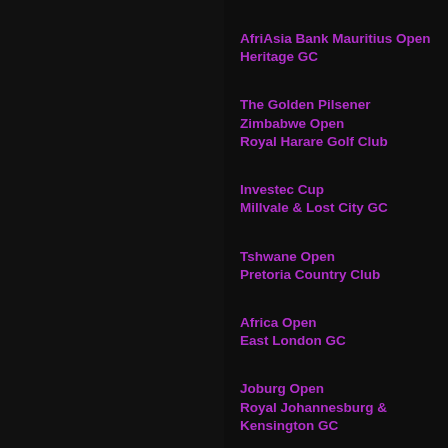AfriAsia Bank Mauritius Open
Heritage GC
The Golden Pilsener Zimbabwe Open
Royal Harare Golf Club
Investec Cup
Millvale & Lost City GC
Tshwane Open
Pretoria Country Club
Africa Open
East London GC
Joburg Open
Royal Johannesburg & Kensington GC